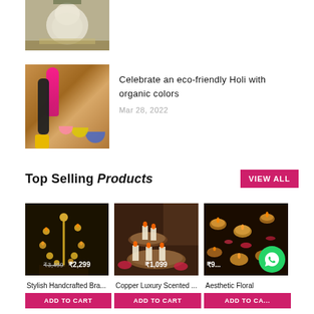[Figure (photo): Partial image of decorative figurine (Ganesha idol) cut off at top of page]
[Figure (photo): Holi organic colors product photo - pink and black tubes with colorful bowls]
Celebrate an eco-friendly Holi with organic colors
Mar 28, 2022
Top Selling Products
VIEW ALL
[Figure (photo): Stylish handcrafted brass diya stand in dark setting, price ₹3,499 ₹2,299]
[Figure (photo): Copper luxury scented candles on wooden stand with flowers, price ₹1,099]
[Figure (photo): Aesthetic floral diyas with candles in dark setting]
Stylish Handcrafted Bra...
Copper Luxury Scented ...
Aesthetic Floral
ADD TO CART
ADD TO CART
ADD TO CA...